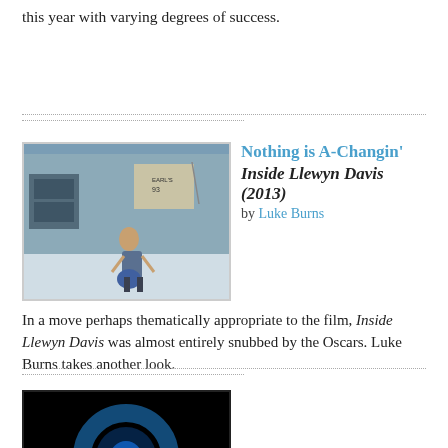this year with varying degrees of success.
[Figure (photo): Still from Inside Llewyn Davis: a man in a winter scene on a snowy street in front of a barber shop]
Nothing is A-Changin' Inside Llewyn Davis (2013) by Luke Burns
In a move perhaps thematically appropriate to the film, Inside Llewyn Davis was almost entirely snubbed by the Oscars. Luke Burns takes another look.
[Figure (photo): Partial view of a dark image with blue circular light, bottom of page]